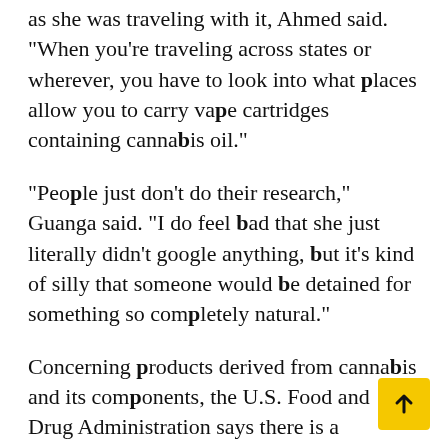as she was traveling with it, Ahmed said. "When you're traveling across states or wherever, you have to look into what places allow you to carry vape cartridges containing cannabis oil."
"People just don't do their research," Guanga said. "I do feel bad that she just literally didn't google anything, but it's kind of silly that someone would be detained for something so completely natural."
Concerning products derived from cannabis and its components, the U.S. Food and Drug Administration says there is a significant interest in the development of therapies and other consumer products derived from cannabis and its components, including cannabidiol (CBD).
"FDA recognizes the potential opportunities that cannabis or cannabis-derived compounds may offer and acknowledges the significant interest the possi―lity――――― FDA―――――― th―